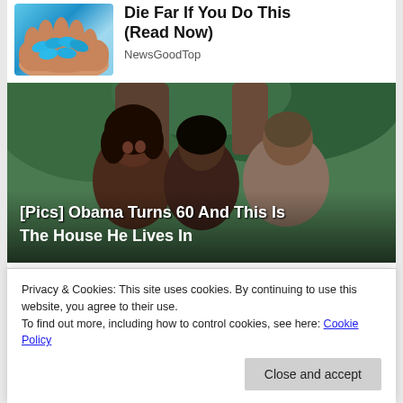[Figure (photo): Hand holding blue oval pills/capsules, advertisement image]
(Read Now)
NewsGoodTop
[Figure (photo): Photo of Michelle Obama, a young woman, and Barack Obama smiling together outdoors with green foliage in background. Overlay text: [Pics] Obama Turns 60 And This Is The House He Lives In]
[Pics] Obama Turns 60 And This Is The House He Lives In
Privacy & Cookies: This site uses cookies. By continuing to use this website, you agree to their use.
To find out more, including how to control cookies, see here: Cookie Policy
Close and accept